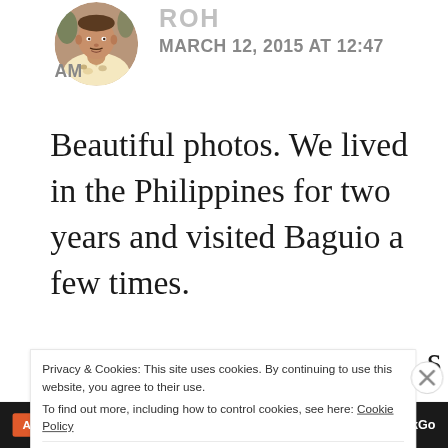[Figure (photo): Circular avatar photo of a person wearing a floral/Hawaiian shirt]
ROH
MARCH 12, 2015 AT 12:47 AM
Beautiful photos. We lived in the Philippines for two years and visited Baguio a few times.
Privacy & Cookies: This site uses cookies. By continuing to use this website, you agree to their use.
To find out more, including how to control cookies, see here: Cookie Policy
Close and accept
[Figure (other): Advertisement bar at bottom with 'All in One Free App' orange button and DuckDuckGo logo]